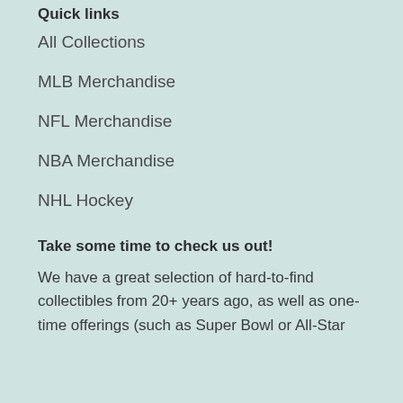Quick links
All Collections
MLB Merchandise
NFL Merchandise
NBA Merchandise
NHL Hockey
Take some time to check us out!
We have a great selection of hard-to-find collectibles from 20+ years ago, as well as one-time offerings (such as Super Bowl or All-Star